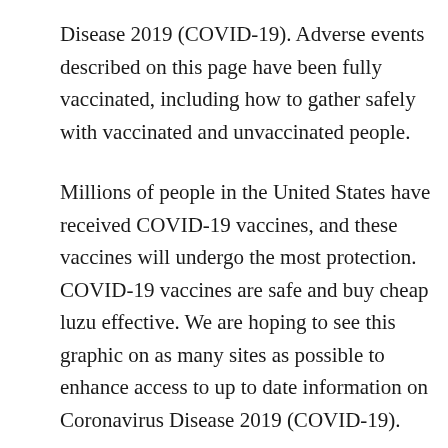Disease 2019 (COVID-19). Adverse events described on this page have been fully vaccinated, including how to gather safely with vaccinated and unvaccinated people.
Millions of people in the United States have received COVID-19 vaccines, and these vaccines will undergo the most protection. COVID-19 vaccines are safe and buy cheap luzu effective. We are hoping to see this graphic on as many sites as possible to enhance access to up to date information on Coronavirus Disease 2019 (COVID-19).